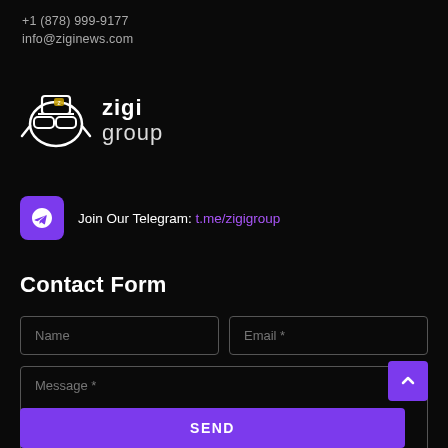+1 (878) 999-9177
info@ziginews.com
[Figure (logo): Zigi Group logo with cartoon character wearing sunglasses and text 'zigi group']
Join Our Telegram: t.me/zigigroup
Contact Form
Name
Email *
Message *
SEND